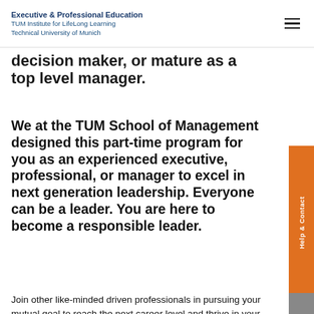Executive & Professional Education
TUM Institute for LifeLong Learning
Technical University of Munich
decision maker, or mature as a top level manager.
We at the TUM School of Management designed this part-time program for you as an experienced executive, professional, or manager to excel in next generation leadership. Everyone can be a leader. You are here to become a responsible leader.
Join other like-minded driven professionals in pursuing your mutual goal to reach the next career level and thrive in your current or future leadership roles. With